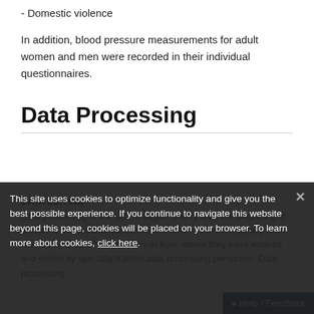- Domestic violence
In addition, blood pressure measurements for adult women and men were recorded in their individual questionnaires.
Data Processing
DATA EDITING
Data processing of the UDHS began shortly after the beginning of fieldwork. Completed questionnaires were returned regularly from the field to UCSR headquarters in Kyiv, where they were entered and edited by specially trained data processing personnel. Data processing...
This site uses cookies to optimize functionality and give you the best possible experience. If you continue to navigate this website beyond this page, cookies will be placed on your browser. To learn more about cookies, click here.